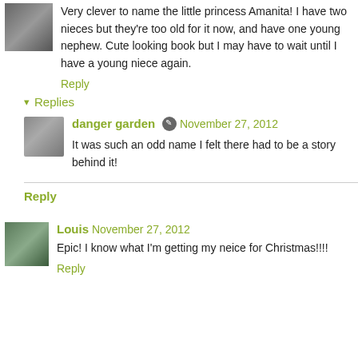Very clever to name the little princess Amanita! I have two nieces but they're too old for it now, and have one young nephew. Cute looking book but I may have to wait until I have a young niece again.
Reply
Replies
danger garden  November 27, 2012
It was such an odd name I felt there had to be a story behind it!
Reply
Louis  November 27, 2012
Epic! I know what I'm getting my neice for Christmas!!!!
Reply